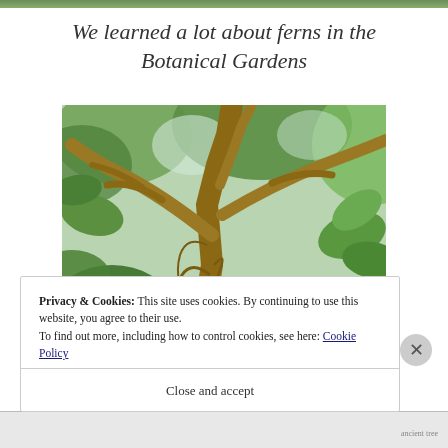[Figure (photo): Top strip showing green foliage/botanical garden image at top of page]
We learned a lot about ferns in the Botanical Gardens
[Figure (photo): Photograph of a large tropical tree with sprawling branches, vines, and green leaves taken from below looking up in the Botanical Gardens]
Privacy & Cookies: This site uses cookies. By continuing to use this website, you agree to their use.
To find out more, including how to control cookies, see here: Cookie Policy
Close and accept